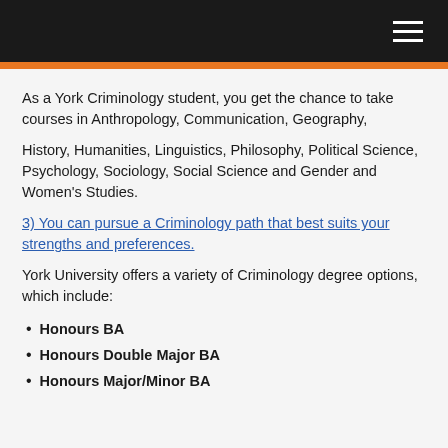As a York Criminology student, you get the chance to take courses in Anthropology, Communication, Geography,
History, Humanities, Linguistics, Philosophy, Political Science, Psychology, Sociology, Social Science and Gender and Women's Studies.
3) You can pursue a Criminology path that best suits your strengths and preferences.
York University offers a variety of Criminology degree options, which include:
Honours BA
Honours Double Major BA
Honours Major/Minor BA